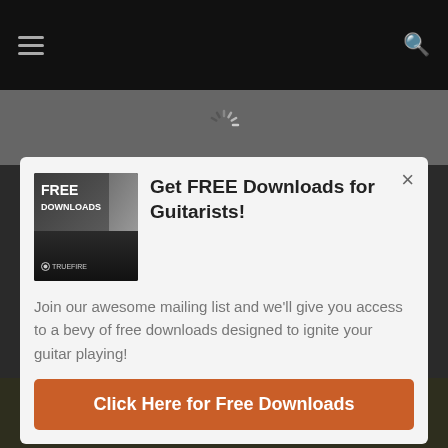[Figure (screenshot): Mobile website screenshot showing a dark top navigation bar with hamburger menu icon on the left and search icon on the right, over a dark background with a modal popup dialog.]
Get FREE Downloads for Guitarists!
Join our awesome mailing list and we'll give you access to a bevy of free downloads designed to ignite your guitar playing!
Click Here for Free Downloads